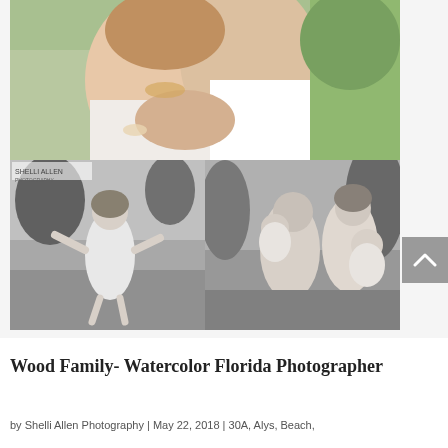[Figure (photo): Top photo: couple embracing outdoors, woman with pearl necklace and bracelet, man in white shirt, color photo]
[Figure (photo): Bottom left: black and white photo of young girl in white dress spinning outdoors]
[Figure (photo): Bottom right: black and white photo of family with two young children sitting together outdoors]
Wood Family- Watercolor Florida Photographer
by Shelli Allen Photography | May 22, 2018 | 30A, Alys, Beach,